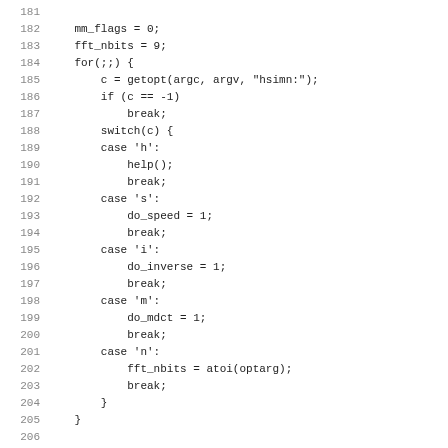Code listing lines 181-212: C source code showing mm_flags=0, fft_nbits=9, for(;;) loop with getopt parsing switch cases for h/s/i/m/n options, then fft_size and malloc calls.